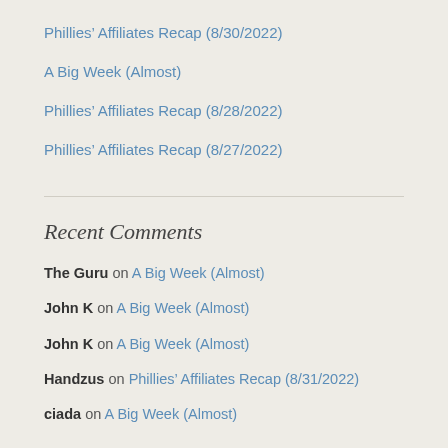Phillies’ Affiliates Recap (8/30/2022)
A Big Week (Almost)
Phillies’ Affiliates Recap (8/28/2022)
Phillies’ Affiliates Recap (8/27/2022)
Recent Comments
The Guru on A Big Week (Almost)
John K on A Big Week (Almost)
John K on A Big Week (Almost)
Handzus on Phillies’ Affiliates Recap (8/31/2022)
ciada on A Big Week (Almost)